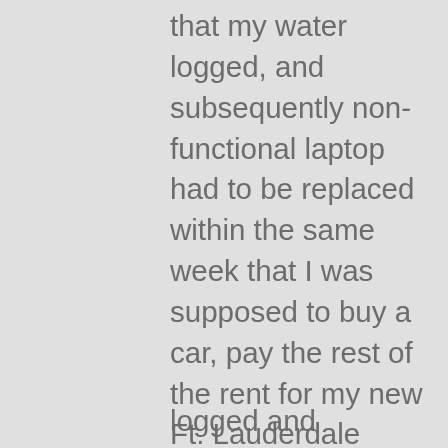that my water logged, and subsequently non-functional laptop had to be replaced within the same week that I was supposed to buy a car, pay the rest of the rent for my new Ft. Lauderdale home, and move across the world.  Once again, I felt in over my head, and up to my ears, only holding together because the other options seemed worse.  Putting myself back together from a breakdown was something I had no time, energy, or interest in doing.
"...that my water logged and